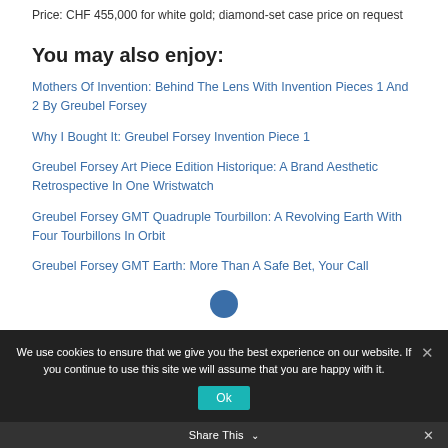Price: CHF 455,000 for white gold; diamond-set case price on request
You may also enjoy:
Mothers Of Invention: Behind The Lens With Invention Pieces 1 And 2 By Greubel Forsey
Why I Bought It: Greubel Forsey Invention Piece 1
Greubel Forsey Art Piece Edition Historique: A Brand Aesthetic Retrospective In One Wristwatch
Greubel Forsey GMT Quadruple Tourbillon: A Revolving Earth With Four Tourbillons In Orbit
Greubel Forsey GMT Earth: More Than A Safe Bet, Your Call
We use cookies to ensure that we give you the best experience on our website. If you continue to use this site we will assume that you are happy with it.
Share This